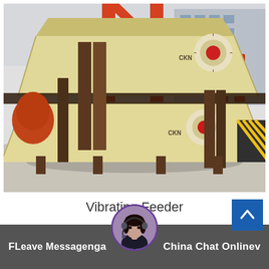[Figure (photo): Industrial vibrating feeder machines with cream/yellow colored heavy steel bodies, red circular motor covers, supported by orange steel crane frames, photographed outdoors in a factory/industrial yard setting.]
Vibrating Feeder
[Figure (photo): Customer service avatar: woman with headset in circular frame with purple border]
Leave Message    China    Chat Online